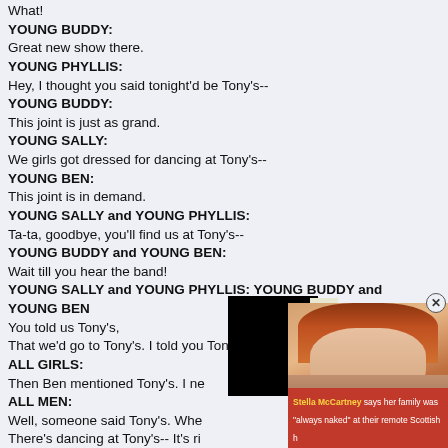What!
YOUNG BUDDY:
Great new show there.
YOUNG PHYLLIS:
Hey, I thought you said tonight'd be Tony's--
YOUNG BUDDY:
This joint is just as grand.
YOUNG SALLY:
We girls got dressed for dancing at Tony's--
YOUNG BEN:
This joint is in demand.
YOUNG SALLY and YOUNG PHYLLIS:
Ta-ta, goodbye, you'll find us at Tony's--
YOUNG BUDDY and YOUNG BEN:
Wait till you hear the band!
YOUNG SALLY and YOUNG PHYLLIS: YOUNG BUDDY and YOUNG BEN
You told us Tony's,
That we'd go to Tony's. I told you Tony's?
ALL GIRLS:
Then Ben mentioned Tony's. I ne[ver...]
ALL MEN:
Well, someone said Tony's. Whe[n...]
There's dancing at Tony's-- It's ri[ght...]
All right, then, we'll go! All right, t[hen...]
(The young counterparts leave.)
[Figure (photo): Photo of a woman with red/auburn hair, partially obscured by a black overlay block. Red caption bar reads: Stella McCartney says her family was "always naked" at their remote Scottish [home]. Close button (X) visible in top right.]